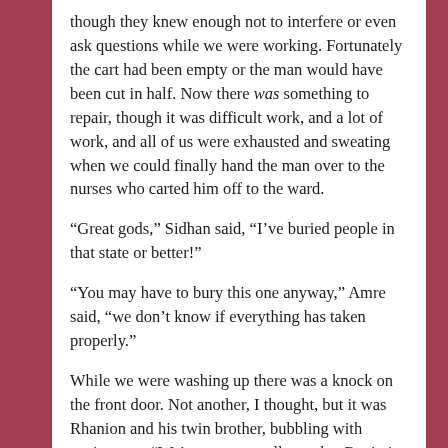though they knew enough not to interfere or even ask questions while we were working. Fortunately the cart had been empty or the man would have been cut in half. Now there was something to repair, though it was difficult work, and a lot of work, and all of us were exhausted and sweating when we could finally hand the man over to the nurses who carted him off to the ward.
“Great gods,” Sidhan said, “I’ve buried people in that state or better!”
“You may have to bury this one anyway,” Amre said, “we don’t know if everything has taken properly.”
While we were washing up there was a knock on the front door. Not another, I thought, but it was Rhanion and his twin brother, bubbling with excitement. “We’ve come to tell you that Rayin is back in town! With ten armed men and women!” “No, twenty! They rode through the gate just now on horses!” “And he said he’s the boss of the town and everything’s going to be